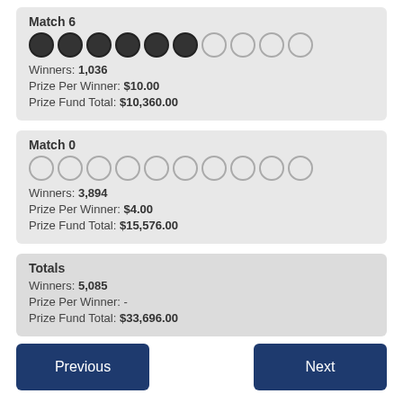Match 6
Winners: 1,036
Prize Per Winner: $10.00
Prize Fund Total: $10,360.00
Match 0
Winners: 3,894
Prize Per Winner: $4.00
Prize Fund Total: $15,576.00
Totals
Winners: 5,085
Prize Per Winner: -
Prize Fund Total: $33,696.00